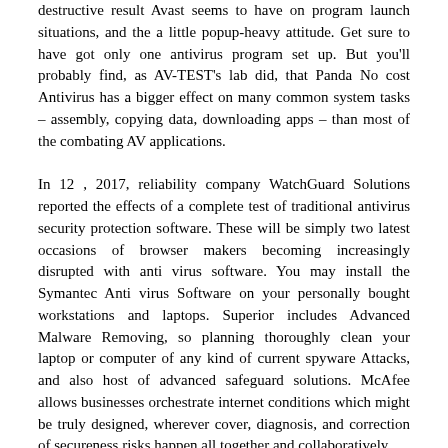destructive result Avast seems to have on program launch situations, and the a little popup-heavy attitude. Get sure to have got only one antivirus program set up. But you'll probably find, as AV-TEST's lab did, that Panda No cost Antivirus has a bigger effect on many common system tasks – assembly, copying data, downloading apps – than most of the combating AV applications.
In 12 , 2017, reliability company WatchGuard Solutions reported the effects of a complete test of traditional antivirus security protection software. These will be simply two latest occasions of browser makers becoming increasingly disrupted with anti virus software. You may install the Symantec Anti virus Software on your personally bought workstations and laptops. Superior includes Advanced Malware Removing, so planning thoroughly clean your laptop or computer of any kind of current spyware Attacks, and also host of advanced safeguard solutions. McAfee allows businesses orchestrate internet conditions which might be truly designed, wherever cover, diagnosis, and correction of secureness risks happen all together and collaboratively.
Extra common than viruses is malware like Trojans, Red worms, Backdoors, Intrusions, Adware, and PUP Potentially Unwanted Programs, which may consist of interaction clientele, distant a desktop and private data revealers, in order to brand a handful of. Nevertheless despite these concerns, is actually apparent that